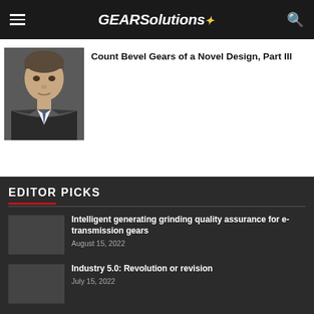GEARSolutions
Count Bevel Gears of a Novel Design, Part III
[Figure (photo): Portrait photo of a middle-aged man in a dark suit and tie]
EDITOR PICKS
Intelligent generating grinding quality assurance for e-transmission gears
August 15, 2022
Industry 5.0: Revolution or revision
July 15, 2022